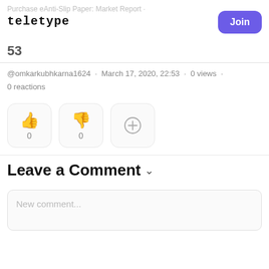Purchase eAnti-Slip Paper: Market Report · teletype · Join
53
@omkarkubhkarna1624 · March 17, 2020, 22:53 · 0 views · 0 reactions
[Figure (infographic): Thumbs up emoji with count 0, thumbs down emoji with count 0, and a plus/add reaction button]
Leave a Comment ˅
New comment...